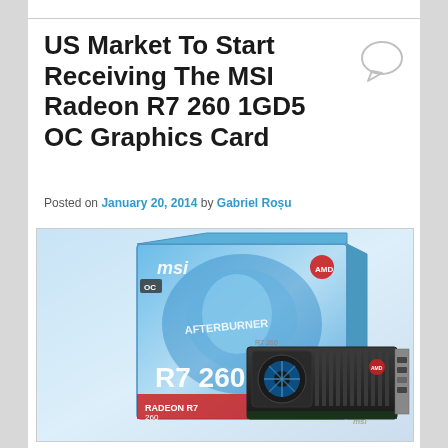US Market To Start Receiving The MSI Radeon R7 260 1GD5 OC Graphics Card
Posted on January 20, 2014 by Gabriel Roșu
[Figure (photo): MSI Radeon R7 260 1GD5 OC graphics card product photo showing the retail box and the graphics card itself. The box features MSI and Afterburner branding with blue and black design, R7 260 model text, and AMD Radeon logo. The card is black with a blue fan and MSI branding.]